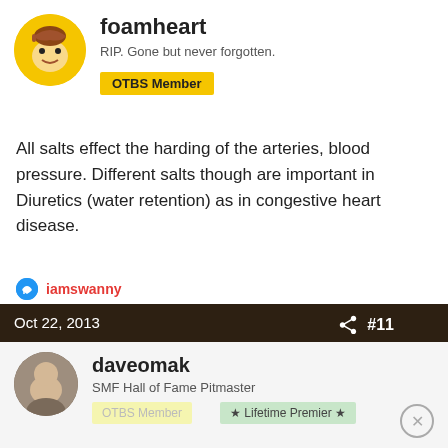[Figure (illustration): Cartoon avatar of foamheart user with yellow background]
foamheart
RIP. Gone but never forgotten.
OTBS Member
All salts effect the harding of the arteries, blood pressure. Different salts though are important in Diuretics (water retention) as in congestive heart disease.
iamswanny
Oct 22, 2013
#11
[Figure (photo): Avatar photo of daveomak user]
daveomak
SMF Hall of Fame Pitmaster
OTBS Member
★ Lifetime Premier ★